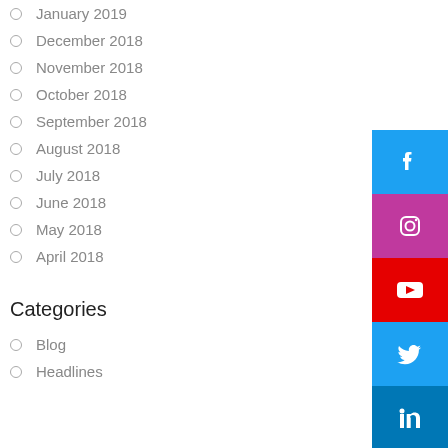January 2019
December 2018
November 2018
October 2018
September 2018
August 2018
July 2018
June 2018
May 2018
April 2018
Categories
Blog
Headlines
[Figure (infographic): Social media icons panel: Facebook (blue), Instagram (purple/pink), YouTube (red), Twitter (light blue), LinkedIn (dark blue)]